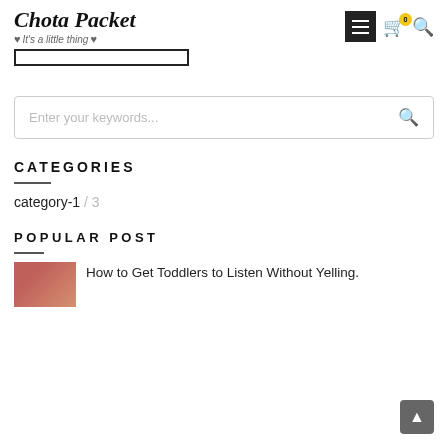Chota Packet – It's a little thing
[Figure (screenshot): Search input bar / tab bar element below header navigation]
[Figure (screenshot): Search box with placeholder text 'Enter your keywords...' and search icon]
CATEGORIES
category-1 / 3
POPULAR POST
[Figure (photo): Thumbnail image for popular post – colorful toddler/parenting image]
How to Get Toddlers to Listen Without Yelling.